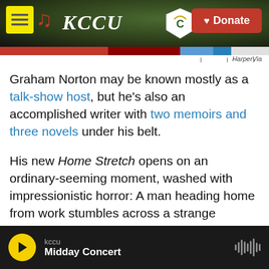[Figure (screenshot): KCCU radio station website header with yellow menu icon, KCCU logo with music notes in red, Cameron University logo, and red Donate button with heart icon, over a dark background with outdoor photo]
[Figure (screenshot): Colored progress/navigation bar below header with red, dark red, blue segments and tick marks. Attribution text 'HarperVia' in italics at right.]
Graham Norton may be known mostly as a talk-show host, but he's also an accomplished writer with two memoirs and three novels under his belt.
His new Home Stretch opens on an ordinary-seeming moment, washed with impressionistic horror: A man heading home from work stumbles across a strange tableau by the side of the road. Two boys, one kneeling, one standing and waving his arms. "Had they had a fight? Then he saw the thin threads of smoke rising up into the marmalade
kccu
Midday Concert